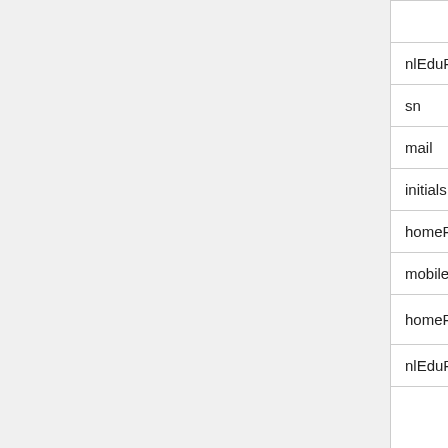| Attribute | Description |
| --- | --- |
|  | realm |
| nlEduPersonTussenvoegsels | Tussenvoegsels |
| sn | Surname |
| mail | Email address |
| initials | Initials |
| homePhone | Home phone |
| mobile | Mobile number |
| homePostalAddress | Home address |
| nlEduPersonBirthDate | Date of birth |
| nlEduPersonProfile | Name of course preceded by CREBO<sp> OPTIONAL BBL_ can be added to the name of the course |
| nlEduPersonDepartment | Department |